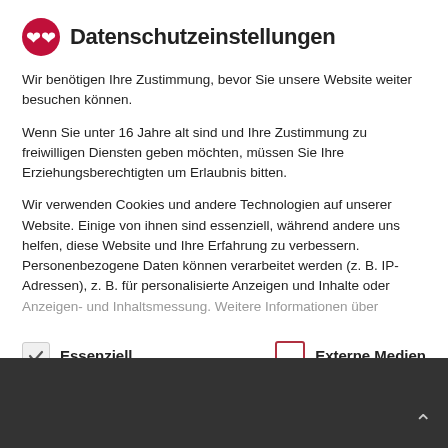Datenschutzeinstellungen
Wir benötigen Ihre Zustimmung, bevor Sie unsere Website weiter besuchen können.
Wenn Sie unter 16 Jahre alt sind und Ihre Zustimmung zu freiwilligen Diensten geben möchten, müssen Sie Ihre Erziehungsberechtigten um Erlaubnis bitten.
Wir verwenden Cookies und andere Technologien auf unserer Website. Einige von ihnen sind essenziell, während andere uns helfen, diese Website und Ihre Erfahrung zu verbessern. Personenbezogene Daten können verarbeitet werden (z. B. IP-Adressen), z. B. für personalisierte Anzeigen und Inhalte oder Anzeigen- und Inhaltsmessung. Weitere Informationen über
Essenziell
Externe Medien